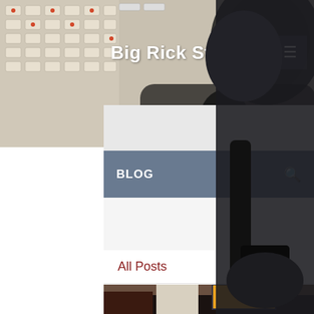[Figure (photo): Background showing audio mixing console/equipment with headphones, used as website header background image]
Big Rick Stuart
BLOG
All Posts
[Figure (photo): Wine bottle labeled 'Altesino Brunello di Montalcino 2015' surrounded by food items including soup in a mug, green sorbet/ice cream, and a plate with food on an airplane meal tray]